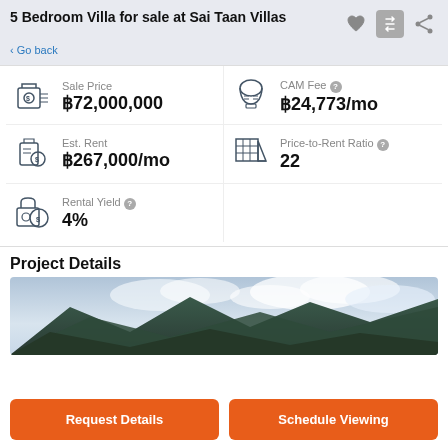5 Bedroom Villa for sale at Sai Taan Villas
< Go back
Sale Price
฿72,000,000
CAM Fee
฿24,773/mo
Est. Rent
฿267,000/mo
Price-to-Rent Ratio
22
Rental Yield
4%
Project Details
[Figure (photo): Landscape photo showing mountainous terrain with cloudy sky, green hills/mountains in the foreground and dramatic clouds above.]
Request Details
Schedule Viewing